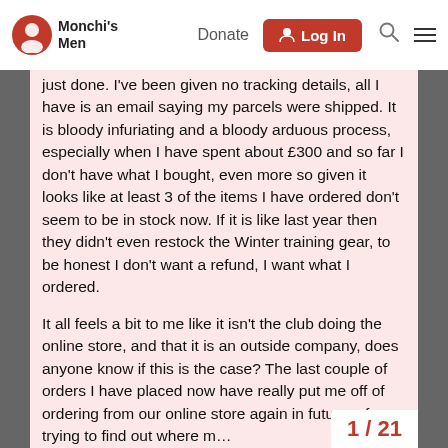Monchi's Men | Donate | Log In
just done. I've been given no tracking details, all I have is an email saying my parcels were shipped. It is bloody infuriating and a bloody arduous process, especially when I have spent about £300 and so far I don't have what I bought, even more so given it looks like at least 3 of the items I have ordered don't seem to be in stock now. If it is like last year then they didn't even restock the Winter training gear, to be honest I don't want a refund, I want what I ordered.
It all feels a bit to me like it isn't the club doing the online store, and that it is an outside company, does anyone know if this is the case? The last couple of orders I have placed now have really put me off of ordering from our online store again in future, of trying to find out where m…
1 / 21